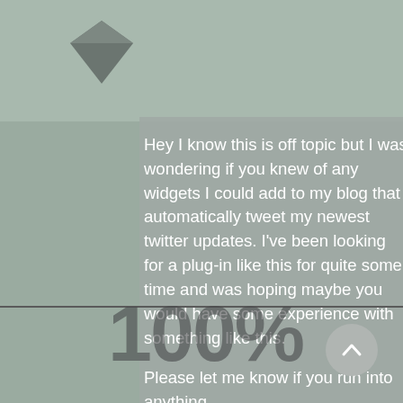[Figure (illustration): Diamond/gem icon in gray at top left area]
Hey I know this is off topic but I was wondering if you knew of any widgets I could add to my blog that automatically tweet my newest twitter updates. I've been looking for a plug-in like this for quite some time and was hoping maybe you would have some experience with something like this.

Please let me know if you run into anything.
I truly enjoy reading your blog and I look forward to your new updates.
[Figure (illustration): 100% watermark text overlaid on the content area]
[Figure (illustration): Scroll to top button - circular button with upward chevron arrow at bottom right]